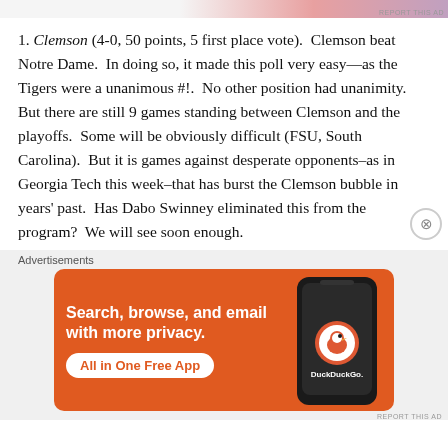[Figure (other): Top advertisement banner strip with gradient colors (light gray to salmon to purple)]
1. Clemson (4-0, 50 points, 5 first place vote). Clemson beat Notre Dame. In doing so, it made this poll very easy—as the Tigers were a unanimous #!. No other position had unanimity. But there are still 9 games standing between Clemson and the playoffs. Some will be obviously difficult (FSU, South Carolina). But it is games against desperate opponents–as in Georgia Tech this week–that has burst the Clemson bubble in years' past. Has Dabo Swinney eliminated this from the program? We will see soon enough.
[Figure (other): DuckDuckGo advertisement: Search, browse, and email with more privacy. All in One Free App. Shows DuckDuckGo app on phone.]